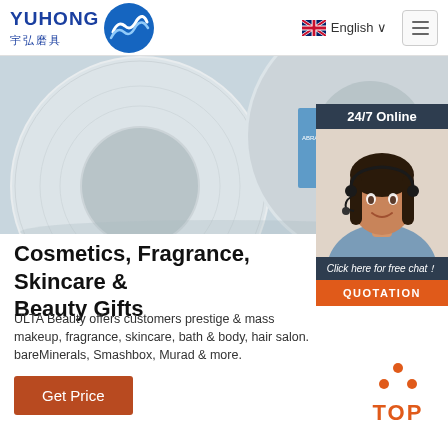[Figure (logo): Yuhong Grinding Tools logo with blue wave graphic and Chinese text 宇弘磨具]
English ∨
[Figure (photo): Close-up photograph of white/blue grinding wheels/abrasive discs on grey surface]
[Figure (photo): 24/7 Online customer service overlay: dark header '24/7 Online', photo of smiling woman with headset, 'Click here for free chat!' text and orange QUOTATION button]
Cosmetics, Fragrance, Skincare & Beauty Gifts
ULTA Beauty offers customers prestige & mass makeup, fragrance, skincare, bath & body, hair salon. bareMinerals, Smashbox, Murad & more.
[Figure (other): Orange 'Get Price' button]
[Figure (other): Orange 'TOP' back-to-top button with upward arrow dots]